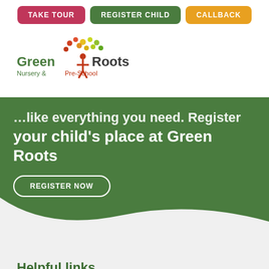TAKE TOUR | REGISTER CHILD | CALLBACK
[Figure (logo): Green Roots Nursery & Pre-School logo with colorful tree and figure]
your child's place at Green Roots
REGISTER NOW
Helpful links
Policies